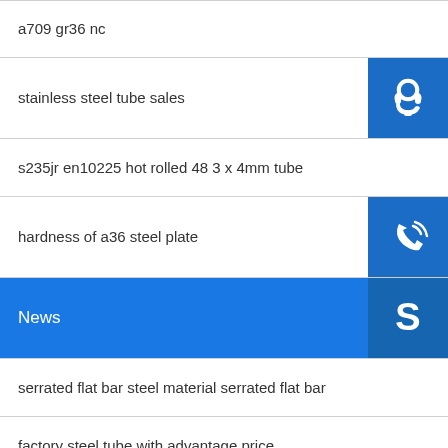a709 gr36 nc
stainless steel tube sales
s235jr en10225 hot rolled 48 3 x 4mm tube
hardness of a36 steel plate
News
serrated flat bar steel material serrated flat bar
factory steel tube with advantage price
galvalume steel 55 percent al zn plate
s355j2 steel coil prime quality width